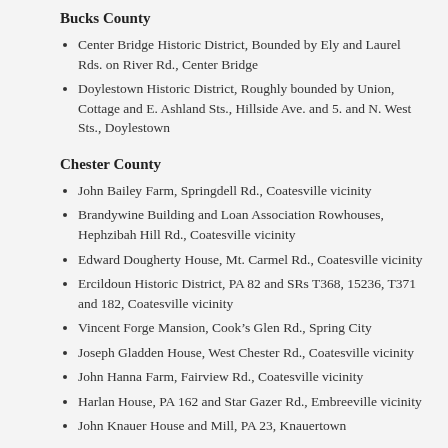Bucks County
Center Bridge Historic District, Bounded by Ely and Laurel Rds. on River Rd., Center Bridge
Doylestown Historic District, Roughly bounded by Union, Cottage and E. Ashland Sts., Hillside Ave. and 5. and N. West Sts., Doylestown
Chester County
John Bailey Farm, Springdell Rd., Coatesville vicinity
Brandywine Building and Loan Association Rowhouses, Hephzibah Hill Rd., Coatesville vicinity
Edward Dougherty House, Mt. Carmel Rd., Coatesville vicinity
Ercildoun Historic District, PA 82 and SRs T368, 15236, T371 and 182, Coatesville vicinity
Vincent Forge Mansion, Cook’s Glen Rd., Spring City
Joseph Gladden House, West Chester Rd., Coatesville vicinity
John Hanna Farm, Fairview Rd., Coatesville vicinity
Harlan House, PA 162 and Star Gazer Rd., Embreeville vicinity
John Knauer House and Mill, PA 23, Knauertown